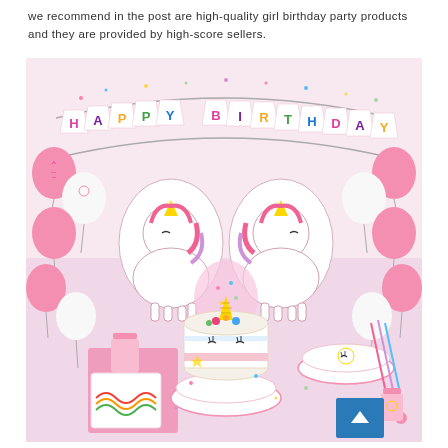we recommend in the post are high-quality girl birthday party products and they are provided by high-score sellers.
[Figure (photo): A unicorn-themed girl birthday party product set displayed on a table, featuring pink and white balloons with unicorn faces, large foil unicorn balloons, a 'Happy Birthday' banner in colorful letters, a white unicorn cake with gold horn and flowers, unicorn plates, cups, napkins with rainbow designs, confetti, straws, and other party supplies. A blue 'back to top' button is visible in the bottom right corner.]